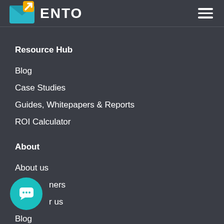ENTO
Resource Hub
Blog
Case Studies
Guides, Whitepapers & Reports
ROI Calculator
About
About us
Customers
Work for us
Blog